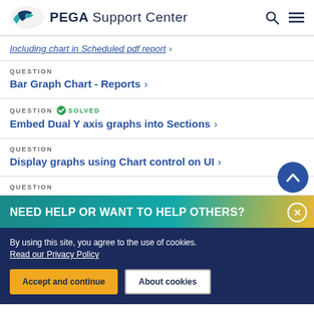PEGA Support Center
Including chart in Scheduled pdf report >
QUESTION
Bar Graph Chart - Reports >
QUESTION SOLVED
Embed Dual Y axis graphs into Sections >
QUESTION
Display graphs using Chart control on UI >
QUESTION
NEED HELP OR WANT TO HELP OTHERS?
By using this site, you agree to the use of cookies. Read our Privacy Policy
Accept and continue   About cookies